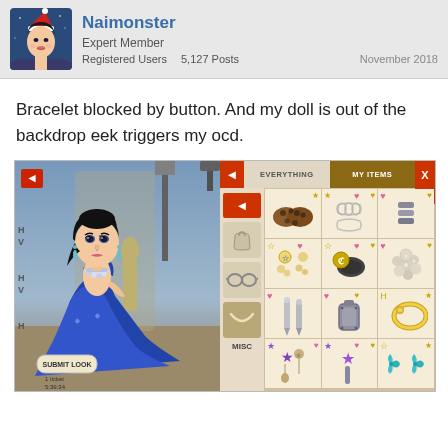Naimonster — Expert Member — Registered Users — 5,127 Posts — November 2018
Bracelet blocked by button. And my doll is out of the backdrop eek triggers my ocd.
[Figure (screenshot): Screenshot of a mobile fashion game showing a doll dressed in a blue gown with dark hair, jewels, and earrings standing in a studio backdrop. On the right is the game UI showing an item selection panel with tabs 'EVERYTHING' and 'MY ITEMS', a sidebar with bag/glasses/necklace icons labeled MISC, and a grid of jewelry/accessory items. There is a red back button, a Submit Look button, and a timer showing 1 ticket 5:38:34.]